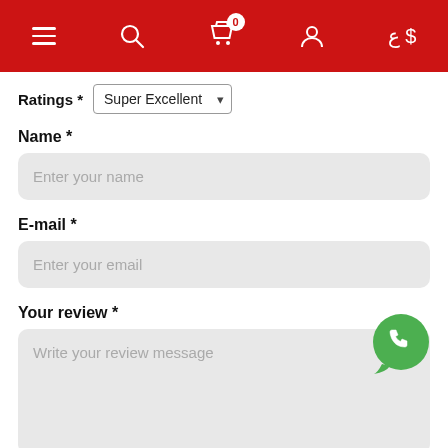Navigation bar with menu, search, cart (0), account, currency (ع $)
Ratings * Super Excellent
Name *
Enter your name
E-mail *
Enter your email
Your review *
Write your review message